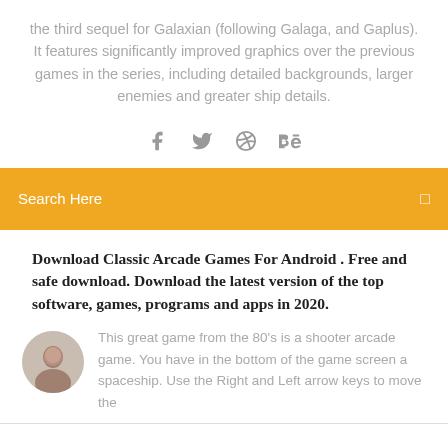the third sequel for Galaxian (following Galaga, and Gaplus). It features significantly improved graphics over the previous games in the series, including detailed backgrounds, larger enemies and greater ship details.
[Figure (other): Social media icons: Facebook (f), Twitter (bird), Dribbble (basketball), Behance (Be)]
Search Here
Download Classic Arcade Games For Android . Free and safe download. Download the latest version of the top software, games, programs and apps in 2020.
[Figure (photo): Circular avatar photo of a man]
This great game from the 80's is a shooter arcade game. You have in the bottom of the game screen a spaceship. Use the Right and Left arrow keys to move the